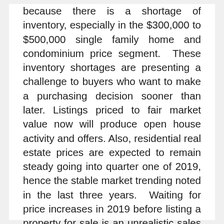because there is a shortage of inventory, especially in the $300,000 to $500,000 single family home and condominium price segment. These inventory shortages are presenting a challenge to buyers who want to make a purchasing decision sooner than later. Listings priced to fair market value now will produce open house activity and offers. Also, residential real estate prices are expected to remain steady going into quarter one of 2019, hence the stable market trending noted in the last three years. Waiting for price increases in 2019 before listing a property for sale is an unrealistic sales strategy based on current market behavior. Lastly, closing prior to 2019 will allow buyers to take advantage of the homestead exemption as well.